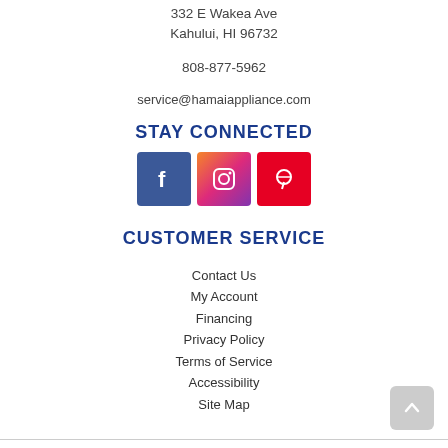332 E Wakea Ave
Kahului, HI 96732
808-877-5962
service@hamaiappliance.com
STAY CONNECTED
[Figure (other): Social media icons: Facebook, Instagram, Pinterest]
CUSTOMER SERVICE
Contact Us
My Account
Financing
Privacy Policy
Terms of Service
Accessibility
Site Map